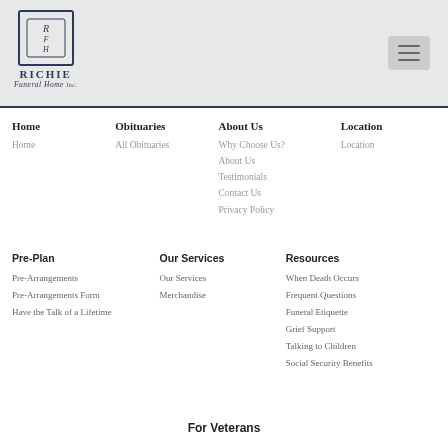Richie Funeral Home Inc. - Navigation Menu
Home
Home
Obituaries
All Obituaries
About Us
Why Choose Us?
About Us
Testimonials
Contact Us
Privacy Policy
Location
Location
Pre-Plan
Pre-Arrangements
Pre-Arrangements Form
Have the Talk of a Lifetime
Our Services
Our Services
Merchandise
Resources
When Death Occurs
Frequent Questions
Funeral Etiquette
Grief Support
Talking to Children
Social Security Benefits
For Veterans